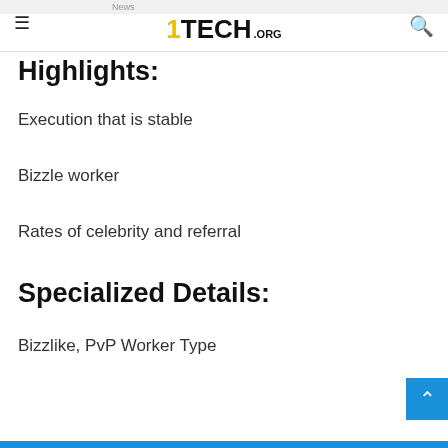News
1TECH.ORG
Highlights:
Execution that is stable
Bizzle worker
Rates of celebrity and referral
Specialized Details:
Bizzlike, PvP Worker Type